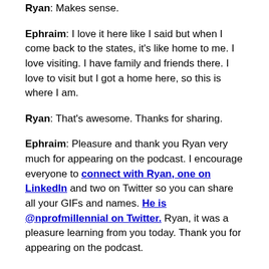Ryan: Makes sense.
Ephraim: I love it here like I said but when I come back to the states, it's like home to me. I love visiting. I have family and friends there. I love to visit but I got a home here, so this is where I am.
Ryan: That's awesome. Thanks for sharing.
Ephraim: Pleasure and thank you Ryan very much for appearing on the podcast. I encourage everyone to connect with Ryan, one on LinkedIn and two on Twitter so you can share all your GIFs and names. He is @nprofmillennial on Twitter. Ryan, it was a pleasure learning from you today. Thank you for appearing on the podcast.
Ryan: Likewise. Thanks so much for having me. Have a great evening.